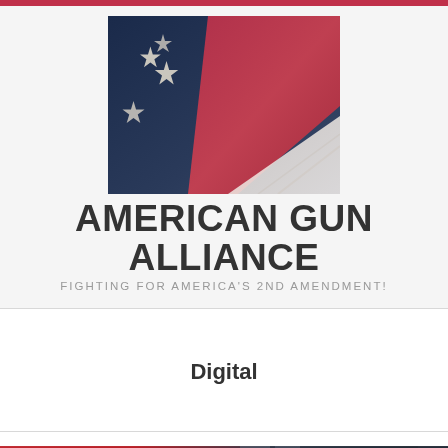[Figure (photo): Close-up photograph of an American flag showing stars on blue field and red and white stripes with fabric folds]
AMERICAN GUN ALLIANCE
FIGHTING FOR AMERICA'S 2ND AMENDMENT!
Digital
[Figure (photo): Close-up photograph showing red and dark metallic objects, possibly gun parts or ammunition]